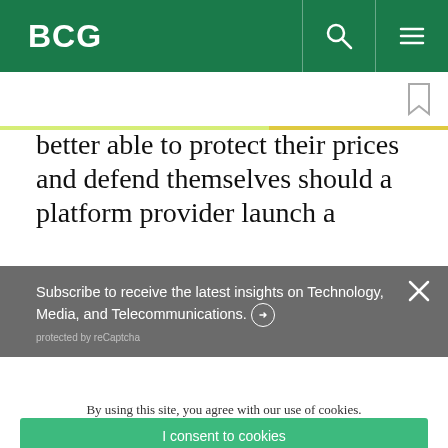BCG
better able to protect their prices and defend themselves should a platform provider launch a
Subscribe to receive the latest insights on Technology, Media, and Telecommunications.
protected by reCaptcha
By using this site, you agree with our use of cookies.
I consent to cookies
Want to know more?
Read our Cookie Policy